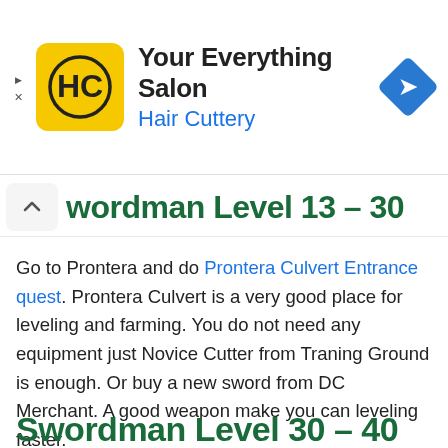[Figure (logo): Hair Cuttery advertisement banner with yellow square HC logo, title 'Your Everything Salon', subtitle 'Hair Cuttery', and a blue navigation diamond icon on the right]
Swordman Level 13 – 30
Go to Prontera and do Prontera Culvert Entrance quest. Prontera Culvert is a very good place for leveling and farming. You do not need any equipment just Novice Cutter from Traning Ground is enough. Or buy a new sword from DC Merchant. A good weapon make you can leveling faster.
You can check hit100% and flee95% by Hit&Flee Table.
Swordman Level 30 – 40